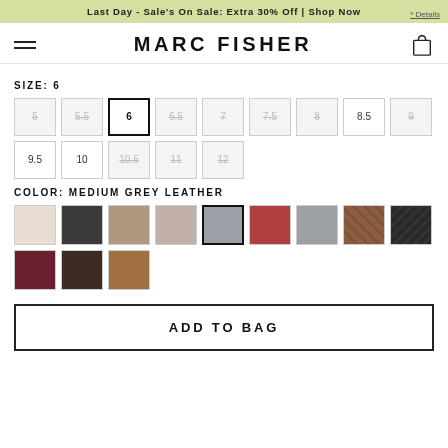Last Day - Sale's On Sale: Extra 30% Off | Shop Now * Details
MARC FISHER
SIZE: 6
5  5.5  6  6.5  7  7.5  8  8.5  9  9.5  10  10.5  11  12
COLOR: MEDIUM GREY LEATHER
ADD TO BAG